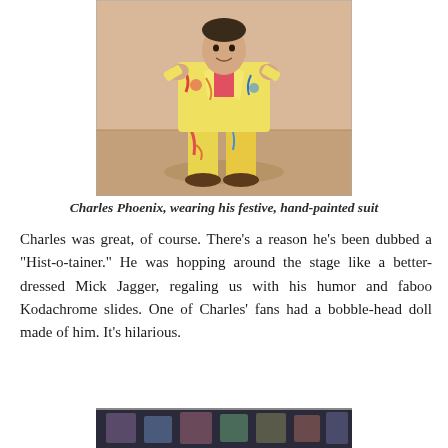[Figure (photo): Charles Phoenix standing on a stage wearing a colorful, festive, hand-painted suit with bright yellow, pink, red and multi-color patterns.]
Charles Phoenix, wearing his festive, hand-painted suit
Charles was great, of course. There's a reason he's been dubbed a "Hist-o-tainer." He was hopping around the stage like a better-dressed Mick Jagger, regaling us with his humor and faboo Kodachrome slides.  One of Charles' fans had a bobble-head doll made of him.  It's hilarious.
[Figure (photo): Partial photo at bottom of page showing people, cropped.]